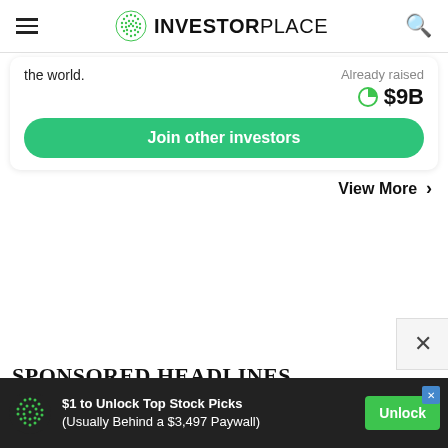INVESTORPLACE
the world.
Already raised
$9B
Join other investors
View More >
SPONSORED HEADLINES
$1 to Unlock Top Stock Picks (Usually Behind a $3,497 Paywall)
Unlock